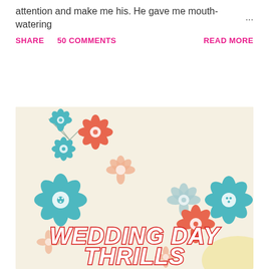attention and make me his. He gave me mouth-watering  ...
SHARE   50 COMMENTS   READ MORE
[Figure (illustration): Decorative floral illustration with colorful flowers in teal, orange/coral, and peach tones on a cream background. Text reads 'WEDDING DAY THRILLS' in large stylized letters with red outline and white fill.]